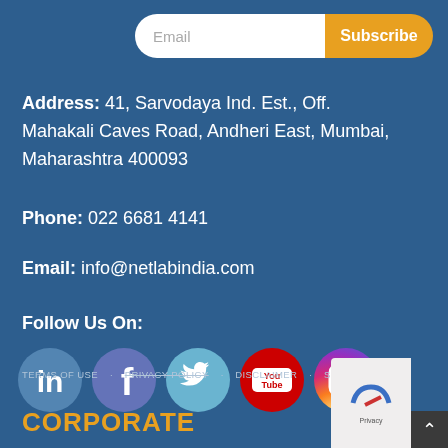Email
Subscribe
Address: 41, Sarvodaya Ind. Est., Off. Mahakali Caves Road, Andheri East, Mumbai, Maharashtra 400093
Phone: 022 6681 4141
Email: info@netlabindia.com
Follow Us On:
[Figure (illustration): Five social media icons: LinkedIn (blue circle), Facebook (blue/purple circle), Twitter (light blue circle), YouTube (red circle), Instagram (gradient purple-pink circle)]
TERMS OF USE  PRIVACY POLICY  DISCLAIMER  SITEMAP
CORPORATE